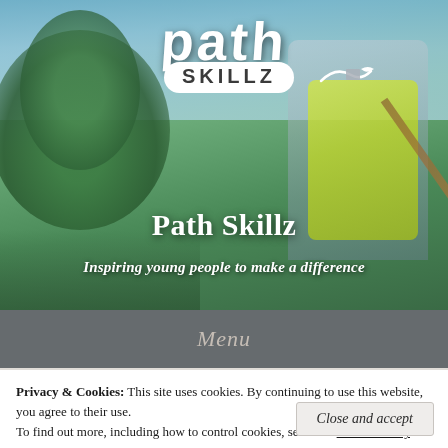[Figure (photo): Hero banner photograph of a young man wearing a high-visibility yellow vest and working outdoors with a tool, with trees and blue sky in the background. The Path Skillz logo is overlaid on the image.]
Path Skillz
Inspiring young people to make a difference
Menu
Privacy & Cookies:  This site uses cookies. By continuing to use this website, you agree to their use.
To find out more, including how to control cookies, see here: Cookie Policy
Close and accept